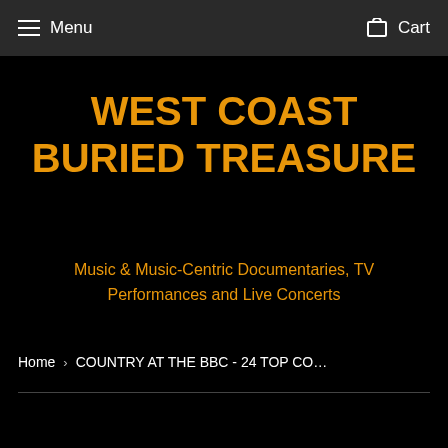Menu   Cart
WEST COAST BURIED TREASURE
Music & Music-Centric Documentaries, TV Performances and Live Concerts
Home › COUNTRY AT THE BBC - 24 TOP CO…